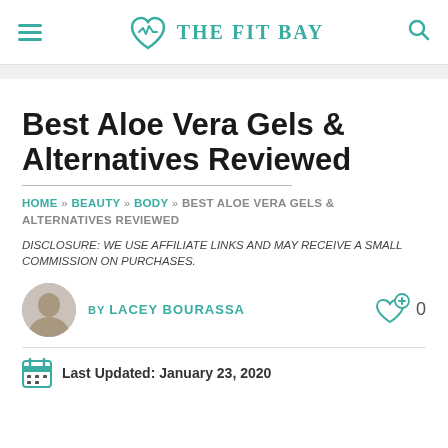THE FIT BAY
Best Aloe Vera Gels & Alternatives Reviewed
HOME » BEAUTY » BODY » BEST ALOE VERA GELS & ALTERNATIVES REVIEWED
DISCLOSURE: WE USE AFFILIATE LINKS AND MAY RECEIVE A SMALL COMMISSION ON PURCHASES.
BY LACEY BOURASSA
Last Updated: January 23, 2020